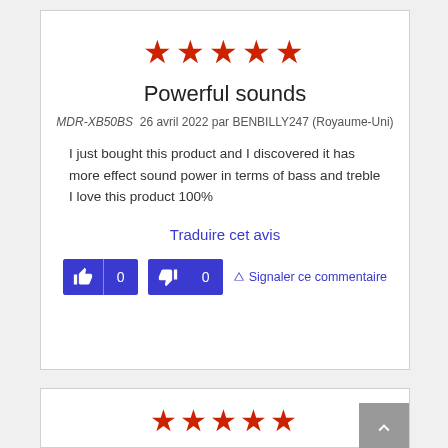[Figure (other): 5 red stars rating]
Powerful sounds
MDR-XB50BS  26 avril 2022 par BENBILLY247 (Royaume-Uni)
I just bought this product and I discovered it has more effect sound power in terms of bass and treble I love this product 100%
Traduire cet avis
👍 | 0   👎 | 0   ▼ Signaler ce commentaire
[Figure (other): 5 red stars rating (second review card)]